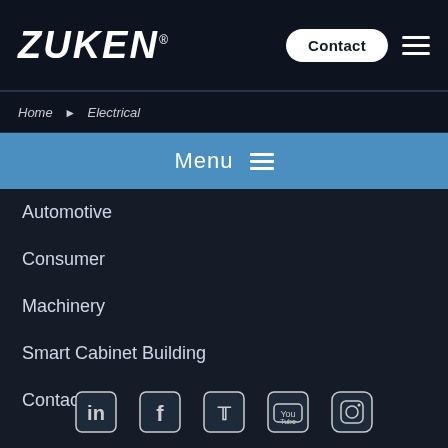ZUKEN® Contact
Home > Electrical
Menu
Automotive
Consumer
Machinery
Smart Cabinet Building
Contact
[Figure (infographic): Social media icons: LinkedIn, Facebook, Twitter, YouTube, Instagram]